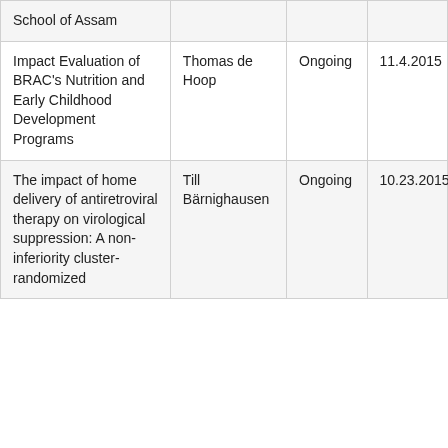| School of Assam |  |  |  |
| Impact Evaluation of BRAC's Nutrition and Early Childhood Development Programs | Thomas de Hoop | Ongoing | 11.4.2015 |
| The impact of home delivery of antiretroviral therapy on virological suppression: A non-inferiority cluster-randomized | Till Bärnighausen | Ongoing | 10.23.2015 |